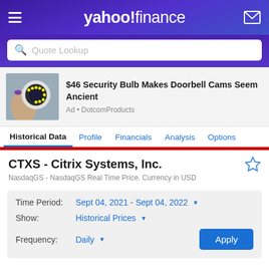yahoo! finance
Quote Lookup
[Figure (photo): Security camera held in hand, advertisement image]
$46 Security Bulb Makes Doorbell Cams Seem Ancient
Ad • DotcomProducts
Historical Data   Profile   Financials   Analysis   Options
CTXS - Citrix Systems, Inc.
NasdaqGS - NasdaqGS Real Time Price. Currency in USD
Time Period: Sept 04, 2021 - Sept 04, 2022
Show: Historical Prices
Frequency: Daily